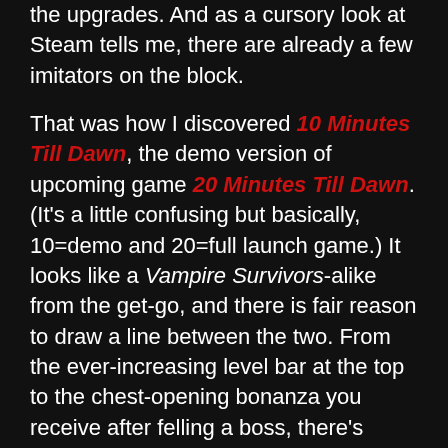the upgrades. And as a cursory look at Steam tells me, there are already a few imitators on the block.
That was how I discovered 10 Minutes Till Dawn, the demo version of upcoming game 20 Minutes Till Dawn. (It's a little confusing but basically, 10=demo and 20=full launch game.) It looks like a Vampire Survivors-alike from the get-go, and there is fair reason to draw a line between the two. From the ever-increasing level bar at the top to the chest-opening bonanza you receive after felling a boss, there's some Vampire DNA in there for sure.